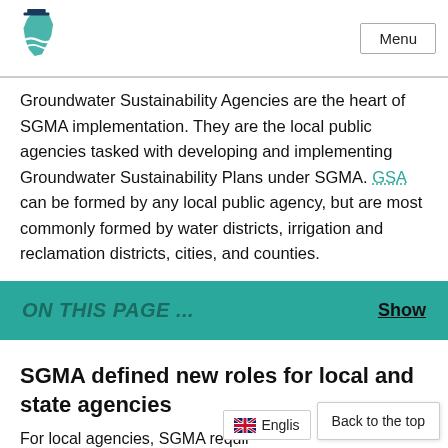Menu
Groundwater Sustainability Agencies are the heart of SGMA implementation. They are the local public agencies tasked with developing and implementing Groundwater Sustainability Plans under SGMA. GSA can be formed by any local public agency, but are most commonly formed by water districts, irrigation and reclamation districts, cities, and counties.
ON THIS PAGE ...
SGMA defined new roles for local and state agencies
For local agencies, SGMA requir